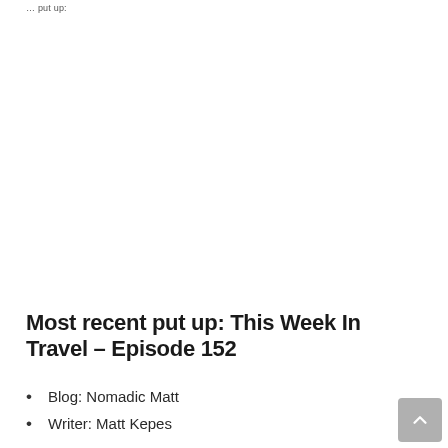... put up: ...
Most recent put up: This Week In Travel – Episode 152
Blog: Nomadic Matt
Writer: Matt Kepes